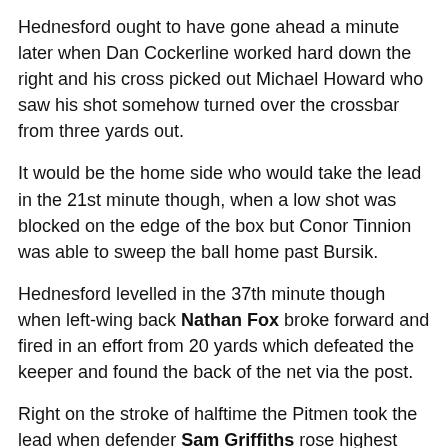Hednesford ought to have gone ahead a minute later when Dan Cockerline worked hard down the right and his cross picked out Michael Howard who saw his shot somehow turned over the crossbar from three yards out.
It would be the home side who would take the lead in the 21st minute though, when a low shot was blocked on the edge of the box but Conor Tinnion was able to sweep the ball home past Bursik.
Hednesford levelled in the 37th minute though when left-wing back Nathan Fox broke forward and fired in an effort from 20 yards which defeated the keeper and found the back of the net via the post.
Right on the stroke of halftime the Pitmen took the lead when defender Sam Griffiths rose highest from a corner to head home from six yards out.
HT: 1-2
Five minutes into the second half Hednesford again went close when Howard broke forward but his shot was